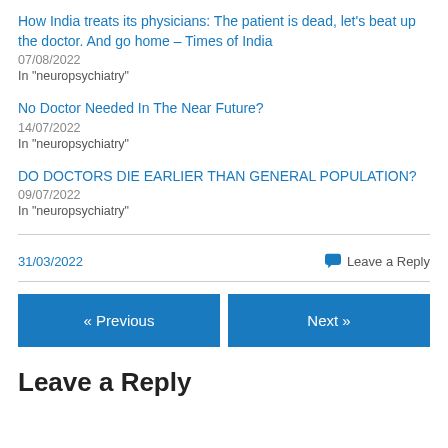How India treats its physicians: The patient is dead, let's beat up the doctor. And go home – Times of India
07/08/2022
In "neuropsychiatry"
No Doctor Needed In The Near Future?
14/07/2022
In "neuropsychiatry"
DO DOCTORS DIE EARLIER THAN GENERAL POPULATION?
09/07/2022
In "neuropsychiatry"
31/03/2022
Leave a Reply
« Previous
Next »
Leave a Reply